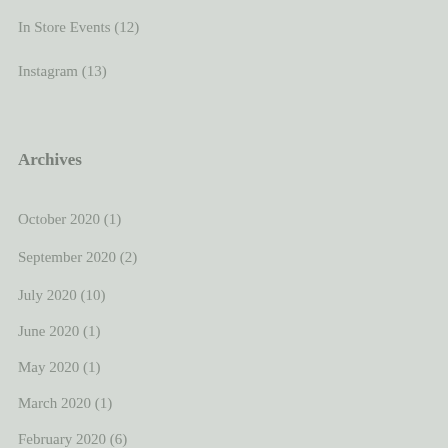In Store Events (12)
Instagram (13)
Archives
October 2020 (1)
September 2020 (2)
July 2020 (10)
June 2020 (1)
May 2020 (1)
March 2020 (1)
February 2020 (6)
August 2019 (8)
July 2019 (1)
March 2019 (6)
January 2019 (2)